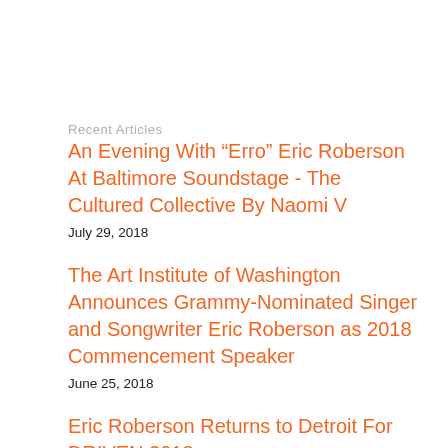Recent Articles
An Evening With “Erro” Eric Roberson At Baltimore Soundstage - The Cultured Collective By Naomi V
July 29, 2018
The Art Institute of Washington Announces Grammy-Nominated Singer and Songwriter Eric Roberson as 2018 Commencement Speaker
June 25, 2018
Eric Roberson Returns to Detroit For DRIVEN 2018
January 24, 2018